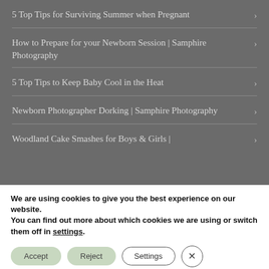5 Top Tips for Surviving Summer when Pregnant
How to Prepare for your Newborn Session | Samphire Photography
5 Top Tips to Keep Baby Cool in the Heat
Newborn Photographer Dorking | Samphire Photography
Woodland Cake Smashes for Boys & Girls |
We are using cookies to give you the best experience on our website.
You can find out more about which cookies we are using or switch them off in settings.